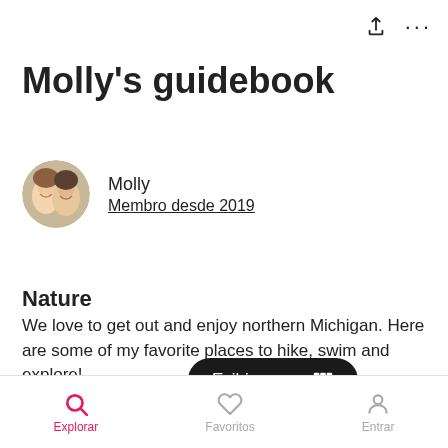[Figure (screenshot): Top navigation bar with share icon and three-dot menu icon]
Molly's guidebook
[Figure (photo): Circular profile photo of two smiling people (Molly)]
Molly
Membro desde 2019
Nature
We love to get out and enjoy northern Michigan. Here are some of my favorite places to hike, swim and explore!
[Figure (screenshot): Dark pill-shaped button reading 'Exibir mapa' with a map/chart icon]
[Figure (photo): Partial outdoor photo showing blue sky with clouds]
Explorar   Favoritos   Entrar